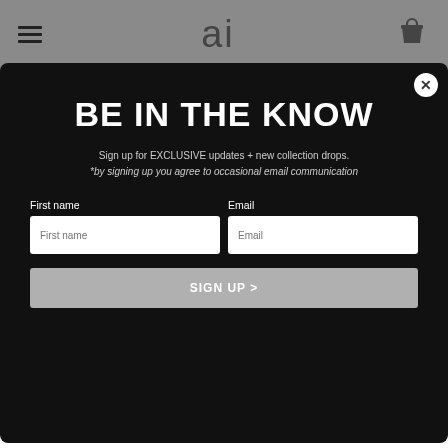ai (logo with hamburger menu and bag icon)
BE IN THE KNOW
Sign up for EXCLUSIVE updates + new collection drops. *by signing up you agree to occasional email communication
First name | Email (form fields with SIGN UP > button)
finds them comfortable and easy to wear. I've been telling everyone that I know about them and will definitely be buying a couple more before school starts! We love the little ai accessories too!